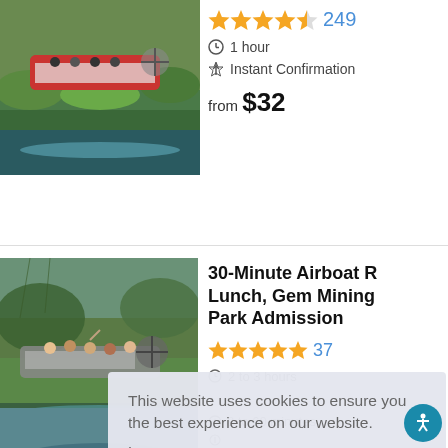[Figure (photo): Airboat with tourists on a swamp/wetland waterway, aerial view]
★★★★½ 249
⏱ 1 hour
⚡ Instant Confirmation
from $32
[Figure (photo): Airboat with tourists on wetland/swamp waterway]
30-Minute Airboat R... Lunch, Gem Mining Park Admission
★★★★★ 37
⏱ 2 to 3 hours
[Figure (photo): Partial image of a water/nature scene, third listing]
⏱ 8 to 60 minutes
This website uses cookies to ensure you the best experience on our website.
Learn more
OK, got it!